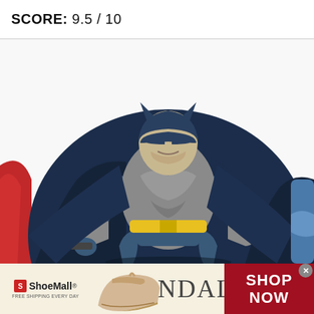SCORE: 9.5 / 10
[Figure (photo): Batman action figure with blue costume, grey body, yellow belt and dark blue cape, posed dynamically. Partially visible red and blue figure on left and right edges.]
[Figure (infographic): ShoeMall advertisement banner showing sandal shoe image, text SANDALS, ShoeMall logo with tagline FREE SHIPPING EVERY DAY, and red SHOP NOW button.]